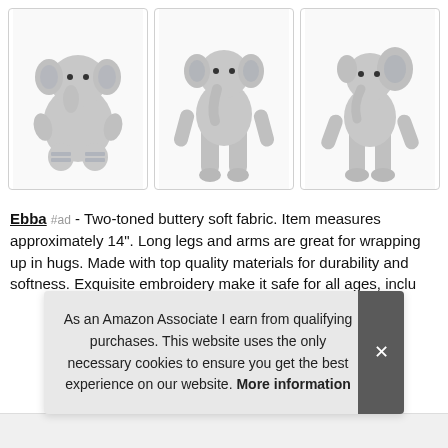[Figure (photo): Three views of a gray stuffed elephant plush toy (Ebba brand): seated view, standing front view, and standing side view. The elephant has striped ears and feet accents, long legs and arms, with embroidered facial features.]
Ebba #ad - Two-toned buttery soft fabric. Item measures approximately 14". Long legs and arms are great for wrapping up in hugs. Made with top quality materials for durability and softness. Exquisite embroidery make it safe for all ages, inclu
As an Amazon Associate I earn from qualifying purchases. This website uses the only necessary cookies to ensure you get the best experience on our website. More information